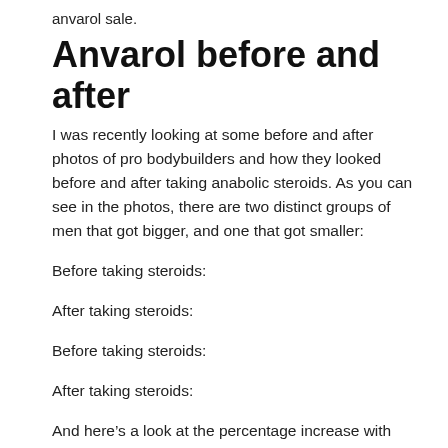anvarol sale.
Anvarol before and after
I was recently looking at some before and after photos of pro bodybuilders and how they looked before and after taking anabolic steroids. As you can see in the photos, there are two distinct groups of men that got bigger, and one that got smaller:
Before taking steroids:
After taking steroids:
Before taking steroids:
After taking steroids:
And here’s a look at the percentage increase with and without steroids:
And here’s a look at the peak height of all